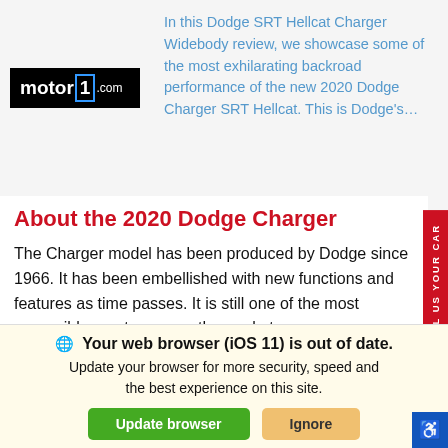[Figure (logo): motor1.com logo — white text on black background with blue-bordered box around '1']
In this Dodge SRT Hellcat Charger Widebody review, we showcase some of the most exhilarating backroad performance of the new 2020 Dodge Charger SRT Hellcat. This is Dodge's…
About the 2020 Dodge Charger
The Charger model has been produced by Dodge since 1966. It has been embellished with new functions and features as time passes. It is still one of the most accessible sports cars on the market.
All advertised vehicles are subject to actual dealer availability.
Your web browser (iOS 11) is out of date. Update your browser for more security, speed and the best experience on this site.